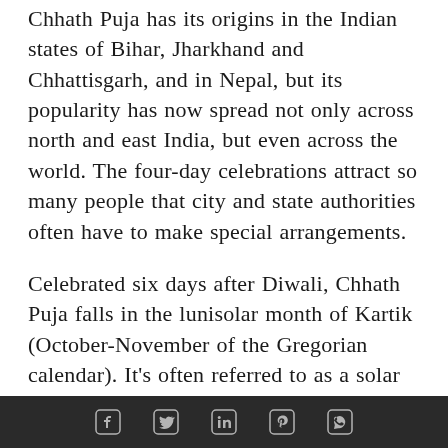Chhath Puja has its origins in the Indian states of Bihar, Jharkhand and Chhattisgarh, and in Nepal, but its popularity has now spread not only across north and east India, but even across the world. The four-day celebrations attract so many people that city and state authorities often have to make special arrangements.
Celebrated six days after Diwali, Chhath Puja falls in the lunisolar month of Kartik (October-November of the Gregorian calendar). It's often referred to as a solar festival since the principal god is Surya, the sun god; it is called Surya Shasthi Vrat, with the word chhat coming from shasthi or the sixth day of the new moon. The
[social share icons: Facebook, Twitter, LinkedIn, Pinterest, WhatsApp]